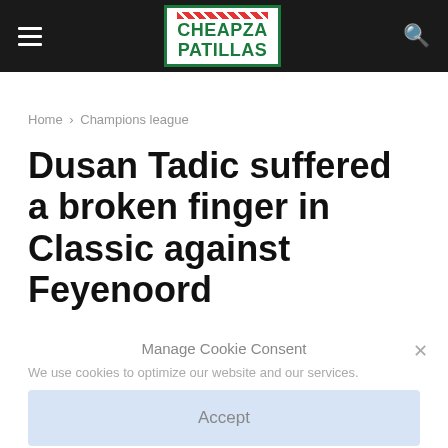CHEAPZA PATILLAS
Home › Champions league
Dusan Tadic suffered a broken finger in Classic against Feyenoord
Manage Cookie Consent
We use cookies to optimize our website and our services.
Accept
Cookie Policy